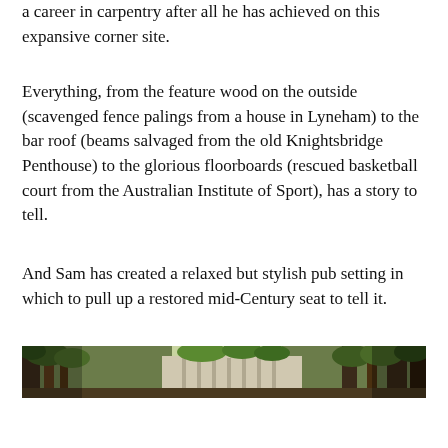a career in carpentry after all he has achieved on this expansive corner site.
Everything, from the feature wood on the outside (scavenged fence palings from a house in Lyneham) to the bar roof (beams salvaged from the old Knightsbridge Penthouse) to the glorious floorboards (rescued basketball court from the Australian Institute of Sport), has a story to tell.
And Sam has created a relaxed but stylish pub setting in which to pull up a restored mid-Century seat to tell it.
[Figure (photo): A horizontal panoramic photo strip showing an outdoor scene with trees, green foliage, and what appears to be a fence or wall structure.]